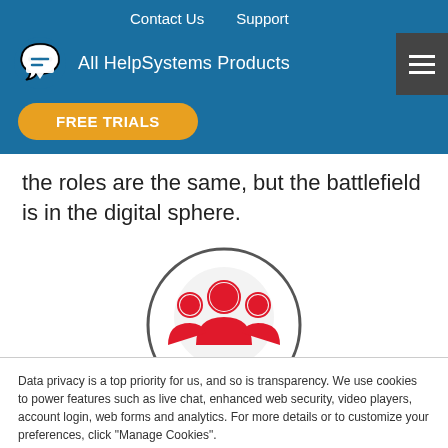Contact Us   Support   All HelpSystems Products   FREE TRIALS
the roles are the same, but the battlefield is in the digital sphere.
[Figure (illustration): Red people/group icon (three figures) inside a circle outline on a light grey background circle]
Data privacy is a top priority for us, and so is transparency. We use cookies to power features such as live chat, enhanced web security, video players, account login, web forms and analytics. For more details or to customize your preferences, click "Manage Cookies".
Accept & Continue
Manage Cookies